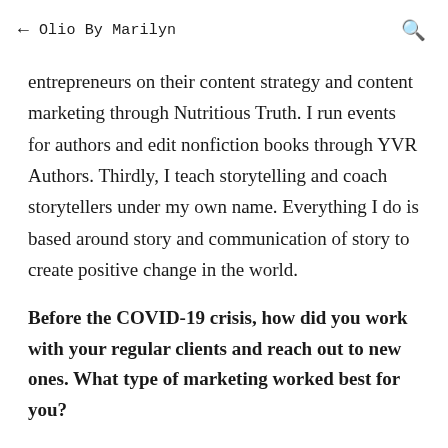← Olio By Marilyn 🔍
entrepreneurs on their content strategy and content marketing through Nutritious Truth. I run events for authors and edit nonfiction books through YVR Authors. Thirdly, I teach storytelling and coach storytellers under my own name. Everything I do is based around story and communication of story to create positive change in the world.
Before the COVID-19 crisis, how did you work with your regular clients and reach out to new ones. What type of marketing worked best for you?